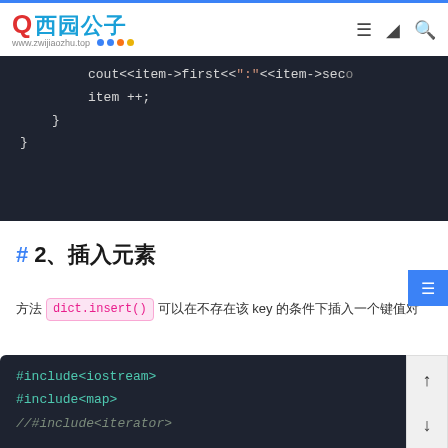西园公子 www.zwijiaozhu.top
[Figure (screenshot): Code snippet showing C++ map iteration with cout<<item->first<<':'<<item->second and item++; inside closing braces]
# 2、插入元素
方法 dict.insert() 可以在不存在该 key 的条件下插入一个键值对
[Figure (screenshot): C++ code block showing #include<iostream>, #include<map>, //#include<iterator>]